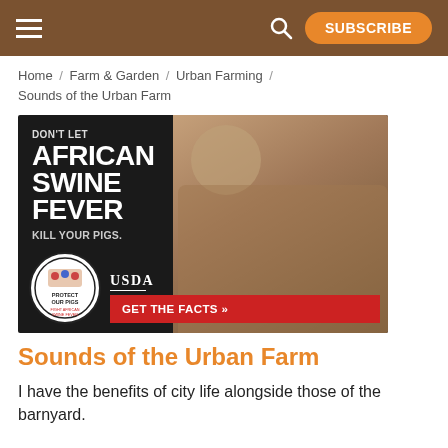SUBSCRIBE
Home / Farm & Garden / Urban Farming / Sounds of the Urban Farm
[Figure (photo): Advertisement: 'Don't let African Swine Fever kill your pigs.' USDA Protect Our Pigs campaign with a man holding a piglet. GET THE FACTS button.]
Sounds of the Urban Farm
I have the benefits of city life alongside those of the barnyard.